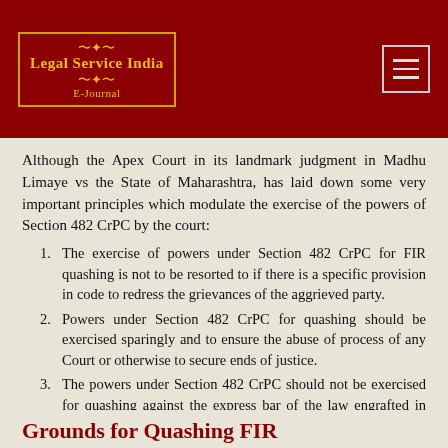Legal Service India E-Journal
Although the Apex Court in its landmark judgment in Madhu Limaye vs the State of Maharashtra, has laid down some very important principles which modulate the exercise of the powers of Section 482 CrPC by the court:
The exercise of powers under Section 482 CrPC for FIR quashing is not to be resorted to if there is a specific provision in code to redress the grievances of the aggrieved party.
Powers under Section 482 CrPC for quashing should be exercised sparingly and to ensure the abuse of process of any Court or otherwise to secure ends of justice.
The powers under Section 482 CrPC should not be exercised for quashing against the express bar of the law engrafted in any other provision of the code.
Grounds for Quashing FIR